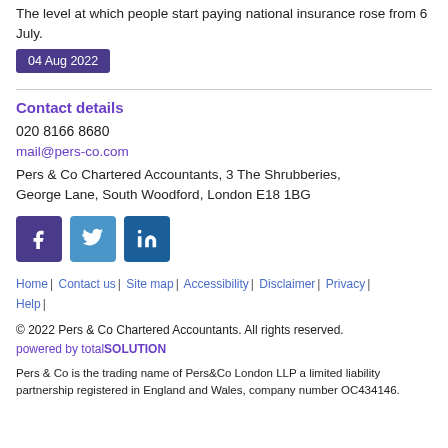The level at which people start paying national insurance rose from 6 July.
04 Aug 2022
Contact details
020 8166 8680
mail@pers-co.com
Pers & Co Chartered Accountants, 3 The Shrubberies, George Lane, South Woodford, London E18 1BG
[Figure (illustration): Social media icons: Facebook (purple), Twitter (blue), LinkedIn (dark blue)]
Home | Contact us | Site map | Accessibility | Disclaimer | Privacy | Help |
© 2022 Pers & Co Chartered Accountants. All rights reserved. powered by totalSOLUTION
Pers & Co is the trading name of Pers&Co London LLP a limited liability partnership registered in England and Wales, company number OC434146.